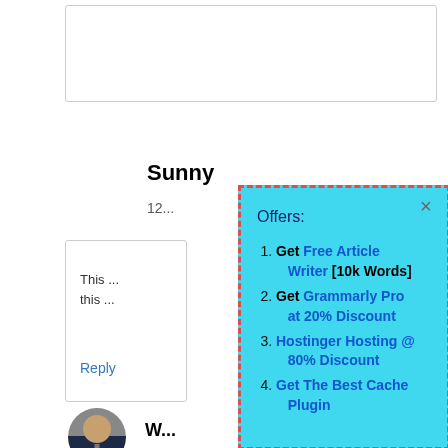Sunny
12...
This ... this ...
Reply
W...
[Figure (screenshot): A website comment section with a popup overlay. The popup has a cyan/turquoise background with a dashed red/salmon border. It shows 'Offers:' followed by 4 numbered list items: 1. Get Free Article Writer [10k Words] 2. Get Grammarly Pro at 20% Discount 3. Hostinger Hosting @ 80% Discount 4. Get The Best Cache Plugin. A close (x) button appears in the top right corner.]
Offers:
Get Free Article Writer [10k Words]
Get Grammarly Pro at 20% Discount
Hostinger Hosting @ 80% Discount
Get The Best Cache Plugin